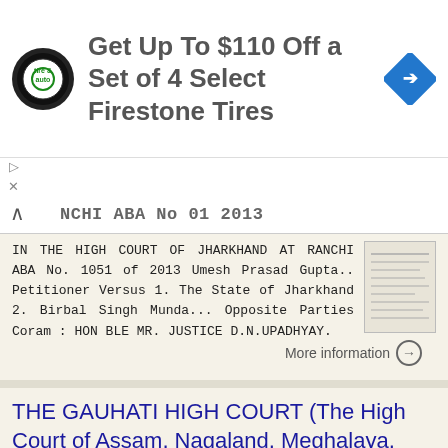[Figure (screenshot): Advertisement banner: Firestone tire & auto logo, text 'Get Up To $110 Off a Set of 4 Select Firestone Tires', blue diamond arrow icon]
RANCHI ABA No 01 2013
IN THE HIGH COURT OF JHARKHAND AT RANCHI ABA No. 1051 of 2013 Umesh Prasad Gupta.. Petitioner Versus 1. The State of Jharkhand 2. Birbal Singh Munda... Opposite Parties Coram : HON BLE MR. JUSTICE D.N.UPADHYAY.
More information →
THE GAUHATI HIGH COURT (The High Court of Assam, Nagaland, Meghalaya, Manipur, Tripura, Mizoram & Arunachal
THE GAUHATI HIGH COURT (The High Court of Assam, Nagaland, Meghalaya,